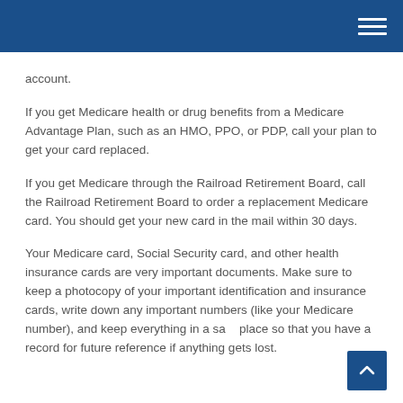account.
If you get Medicare health or drug benefits from a Medicare Advantage Plan, such as an HMO, PPO, or PDP, call your plan to get your card replaced.
If you get Medicare through the Railroad Retirement Board, call the Railroad Retirement Board to order a replacement Medicare card. You should get your new card in the mail within 30 days.
Your Medicare card, Social Security card, and other health insurance cards are very important documents. Make sure to keep a photocopy of your important identification and insurance cards, write down any important numbers (like your Medicare number), and keep everything in a safe place so that you have a record for future reference if anything gets lost.